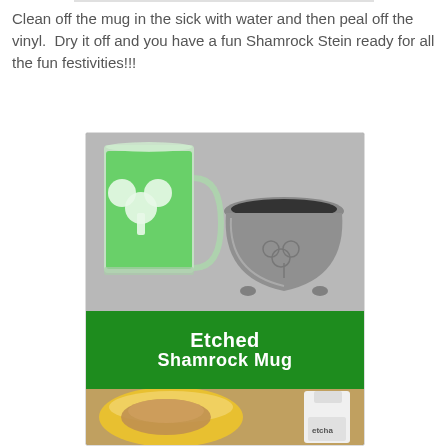Clean off the mug in the sick with water and then peal off the vinyl.  Dry it off and you have a fun Shamrock Stein ready for all the fun festivities!!!
[Figure (photo): Photo of an etched shamrock glass mug filled with green liquid next to a gray pot, with a green banner overlay reading 'Etched Shamrock Mug', and craft supplies visible at the bottom including a yellow bowl and a bottle of etching cream.]